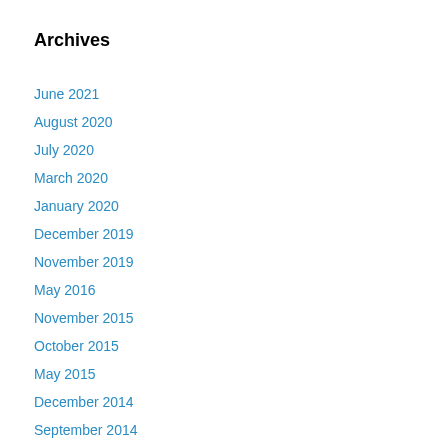Archives
June 2021
August 2020
July 2020
March 2020
January 2020
December 2019
November 2019
May 2016
November 2015
October 2015
May 2015
December 2014
September 2014
August 2014
July 2014
June 2014
May 2014